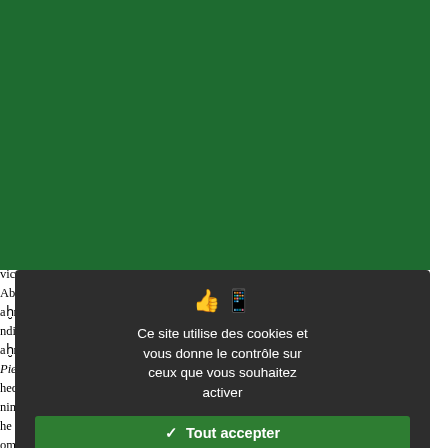and the Oft-repeated [opening] do as I begin the Commentary
32  Faḫr al-Dīn mentions in a very summ... dealt with in classical philosophical ... Abī Ṣādiq justifies counting medic... distinguished from the other sciences... s aim, which is returning or maintain... emonstration is medicine's chief s... angentially to the fact that the comm... tudents.
Above all, however, Faḫr al-Dīn sees... e sees his commentary on Pointers... in treats Canon Book One as a ... vicenna's and Ibn Abī Ṣādiq's view... Abd al-Laṭīf al-Baġdādī. We know... aḫr al-Dīn's commentary on the ... ndirect criticism of Faḫr al-Dīn in B... aḫr al-Dīn in mind when he spoke... Pieces of Advice who occupy with ... hedical practice itself. Thus, while F... nind as he wrote his introduction, Ba... he philosophically oriented approa... ommentary on the Generalities, b... emarks about the divisions of mec...
[Figure (screenshot): Cookie consent dialog overlay on a dark background (#2d2d2d). Contains thumbs-up and phone icons, French text 'Ce site utilise des cookies et vous donne le contrôle sur ceux que vous souhaitez activer', a green 'Tout accepter' button with checkmark, a dark red 'Tout refuser' button with X, a white 'Personnaliser' button, and a 'Politique de confidentialité' link.]